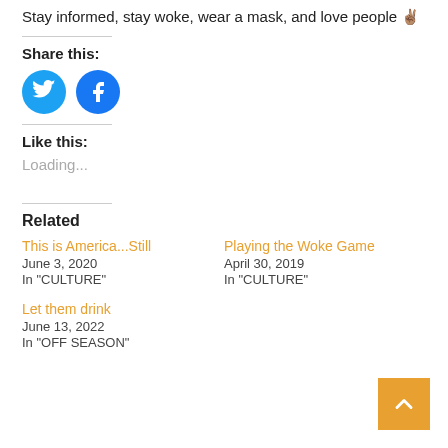Stay informed, stay woke, wear a mask, and love people ✌️
Share this:
[Figure (other): Twitter and Facebook social share icon buttons]
Like this:
Loading...
Related
This is America...Still
June 3, 2020
In "CULTURE"
Playing the Woke Game
April 30, 2019
In "CULTURE"
Let them drink
June 13, 2022
In "OFF SEASON"